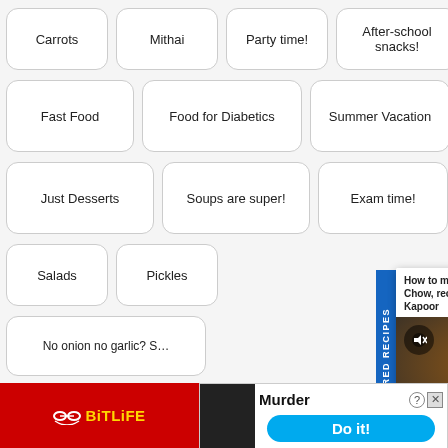Carrots
Mithai
Party time!
After-school snacks!
Fast Food
Food for Diabetics
Summer Vacation
Just Desserts
Soups are super!
Exam time!
Salads
Pickles
No onion no garlic? S…
Finger Foods
T…
[Figure (screenshot): Featured Recipes popup overlay showing 'How to make Paneer Tikka Masala Bunny Chow, recipe by MasterChef Sanjeev Kapoor' with a food image and close button]
[Figure (screenshot): BitLife advertisement banner at the bottom with 'Murder - Do it!' call to action]